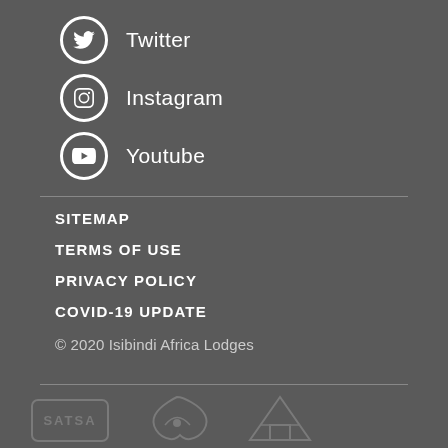Twitter
Instagram
Youtube
SITEMAP
TERMS OF USE
PRIVACY POLICY
COVID-19 UPDATE
© 2020 Isibindi Africa Lodges
[Figure (logo): SATSA and other certification/partner logos at the bottom of the page]